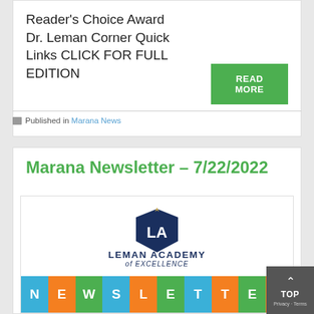Reader's Choice Award Dr. Leman Corner Quick Links CLICK FOR FULL EDITION
READ MORE
Published in Marana News
Marana Newsletter – 7/22/2022
[Figure (logo): Leman Academy of Excellence logo with shield emblem and NEWSLETTER banner in colored letter tiles]